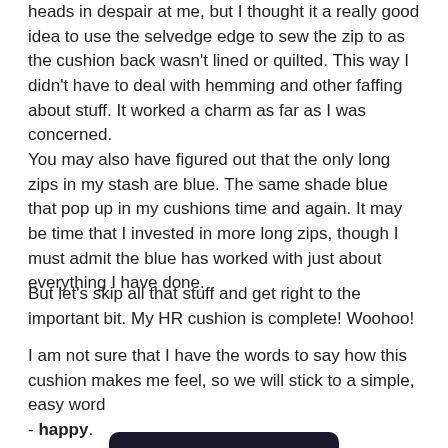heads in despair at me, but I thought it a really good idea to use the selvedge edge to sew the zip to as the cushion back wasn't lined or quilted. This way I didn't have to deal with hemming and other faffing about stuff. It worked a charm as far as I was concerned.
You may also have figured out that the only long zips in my stash are blue. The same shade blue that pop up in my cushions time and again. It may be time that I invested in more long zips, though I must admit the blue has worked with just about everything I have done.
But let's skip all that stuff and get right to the important bit. My HR cushion is complete! Woohoo!
I am not sure that I have the words to say how this cushion makes me feel, so we will stick to a simple, easy word - happy.
[Figure (photo): Partial photo of a completed HR cushion against a dark background, showing colorful fabric at the bottom edge]